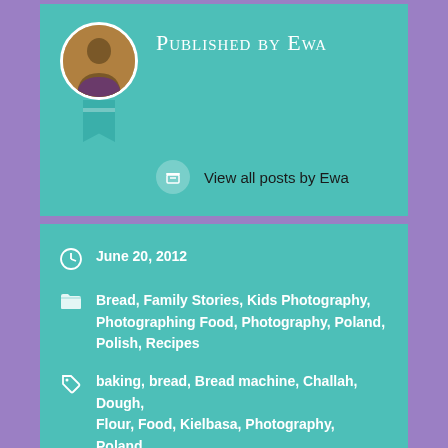Published by Ewa
View all posts by Ewa
June 20, 2012
Bread, Family Stories, Kids Photography, Photographing Food, Photography, Poland, Polish, Recipes
baking, bread, Bread machine, Challah, Dough, Flour, Food, Kielbasa, Photography, Poland, Polish cuisine, recipe, recipes, Sausage
365 Self-portrait Project (week 23rd)
365 Self-Portrait Project (week 24th)